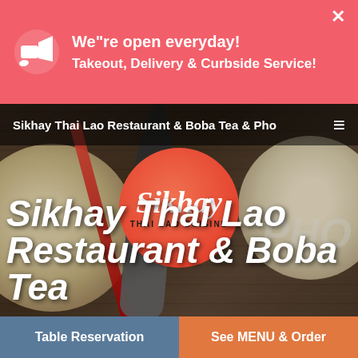We"re open everyday! Takeout, Delivery & Curbside Service!
Sikhay Thai Lao Restaurant & Boba Tea & Pho
[Figure (photo): Hero background image of Thai/Lao food: bowls of pho/noodle soup, rice, chopsticks, and a dark ladle on bamboo mat. Central red circle logo reads 'Sikhay Thai Lao Cuisine'. Large italic white text reads 'Sikhay Thai Lao Restaurant & Boba Tea' with faded 'PHO' watermark.]
Table Reservation
See MENU & Order